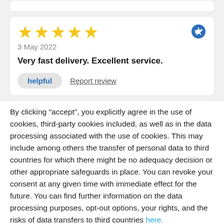[Figure (screenshot): Partial top card, white rounded rectangle, partially visible at top of page]
★★★★★
3 May 2022
Very fast delivery. Excellent service.
helpful   Report review
By clicking "accept", you explicitly agree in the use of cookies, third-party cookies included, as well as in the data processing associated with the use of cookies. This may include among others the transfer of personal data to third countries for which there might be no adequacy decision or other appropriate safeguards in place. You can revoke your consent at any given time with immediate effect for the future. You can find further information on the data processing purposes, opt-out options, your rights, and the risks of data transfers to third countries here.
ACCEPT